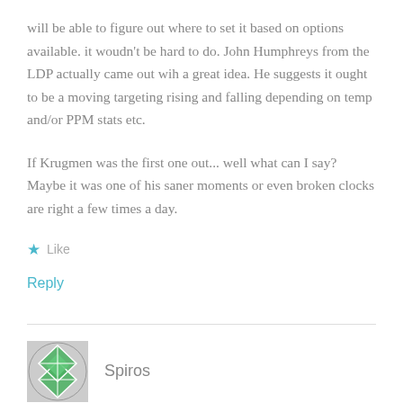will be able to figure out where to set it based on options available. it woudn't be hard to do. John Humphreys from the LDP actually came out wih a great idea. He suggests it ought to be a moving targeting rising and falling depending on temp and/or PPM stats etc.

If Krugmen was the first one out... well what can I say? Maybe it was one of his saner moments or even broken clocks are right a few times a day.
★ Like
Reply
Spiros